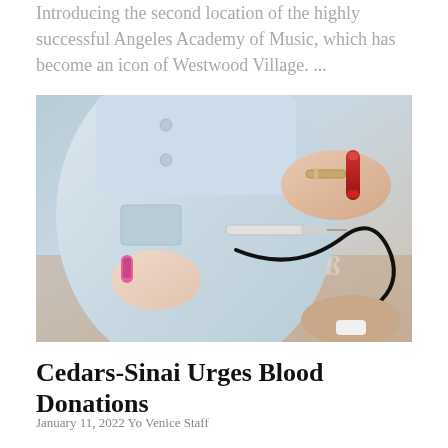Introducing the second location of the highly successful Angeles Academy of Music, which has become an icon of Westwood Village.  ...
[Figure (photo): Close-up photo of a healthcare worker in a light blue medical coat and latex gloves holding blood collection tubes and a syringe connected by tubing to a patient's arm.]
Cedars-Sinai Urges Blood Donations
January 11, 2022 Yo Venice Staff